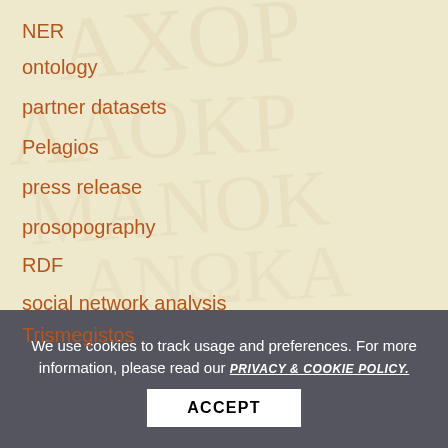NER
ontology
partner datasets
Pelagios
press release
prosopography
RDF
social network analysis
Trismegistos
We use cookies to track usage and preferences. For more information, please read our PRIVACY & COOKIE POLICY.
ACCEPT
META